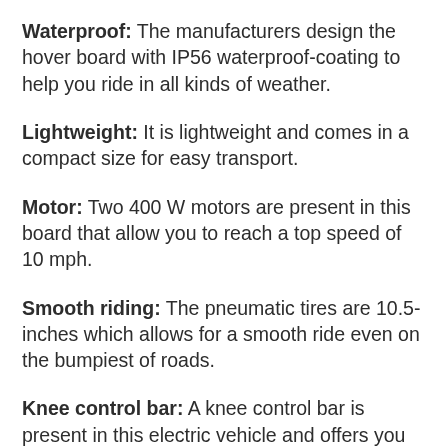Waterproof: The manufacturers design the hover board with IP56 waterproof-coating to help you ride in all kinds of weather.
Lightweight: It is lightweight and comes in a compact size for easy transport.
Motor: Two 400 W motors are present in this board that allow you to reach a top speed of 10 mph.
Smooth riding: The pneumatic tires are 10.5-inches which allows for a smooth ride even on the bumpiest of roads.
Knee control bar: A knee control bar is present in this electric vehicle and offers you accurate steering.